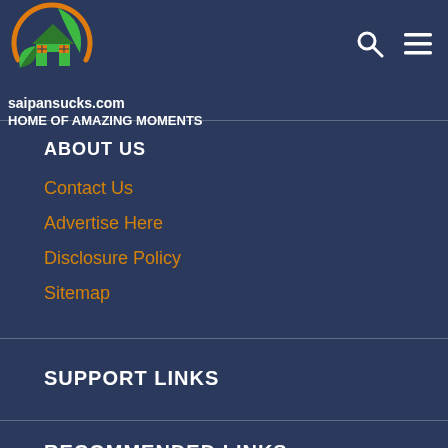[Figure (logo): Circular logo with green house and leaf design on dark navy background with orange arc]
saipansucks.com
HOME OF AMAZING MOMENTS
ABOUT US
Contact Us
Advertise Here
Disclosure Policy
Sitemap
SUPPORT LINKS
RECOMMENDED LINKS